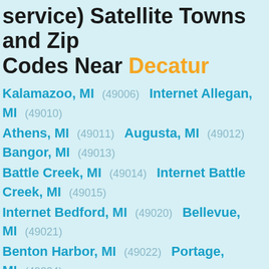service) Satellite Towns and Zip Codes Near Decatur
Kalamazoo, MI (49006)  Internet Allegan, MI (49010)
Athens, MI (49011)  Augusta, MI (49012)  Bangor, MI (49013)
Battle Creek, MI (49014)  Internet Battle Creek, MI (49015)
Internet Bedford, MI (49020)  Bellevue, MI (49021)
Benton Harbor, MI (49022)  Portage, MI (49024)
Internet Bloomingdale, MI (49026)  Breedsville, MI (49027)
Bronson, MI (49028)  Burlington, MI (49029)
Burr Oak, MI (49030)  Internet Cassopolis, MI (49031)
Centreville, MI (49032)  Ceresco, MI (49033)
Climax, MI (49034)  Cloverdale, MI (49035)